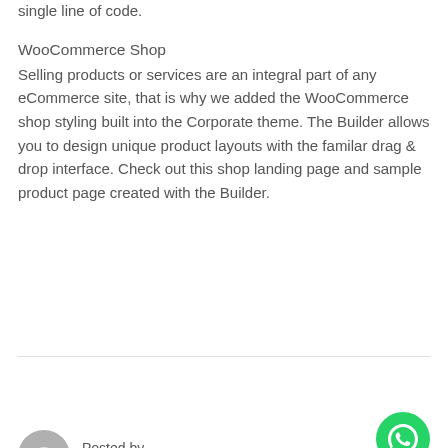single line of code.
WooCommerce Shop
Selling products or services are an integral part of any eCommerce site, that is why we added the WooCommerce shop styling built into the Corporate theme. The Builder allows you to design unique product layouts with the familar drag & drop interface. Check out this shop landing page and sample product page created with the Builder.
Posted by ADMIN